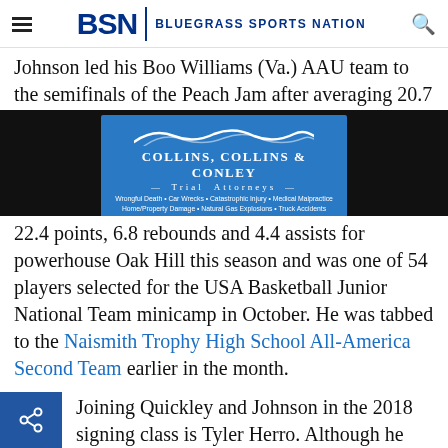BSN | BLUEGRASS SPORTS NATION
Johnson led his Boo Williams (Va.) AAU team to the semifinals of the Peach Jam after averaging 20.7
[Figure (other): Collins, Collins & Conley Trial Attorneys advertisement banner. Wrongful Death • Car Wrecks • Catastrophic Injury • Medical Malpractice Home/Property Damage • Natural Gas Explosions • Truck Accidents Blasting Damage • Personal Injury 606-785-5048]
22.4 points, 6.8 rebounds and 4.4 assists for powerhouse Oak Hill this season and was one of 54 players selected for the USA Basketball Junior National Team minicamp in October. He was tabbed to the Naismith Trophy High School All-America Second Team earlier in the month.
Joining Quickley and Johnson in the 2018 signing class is Tyler Herro. Although he didn't make the Donald's All American Game, he enjoyed one of